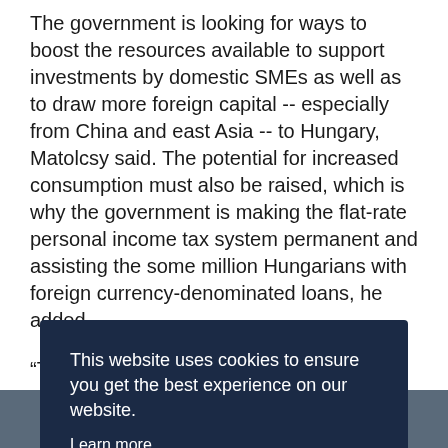The government is looking for ways to boost the resources available to support investments by domestic SMEs as well as to draw more foreign capital -- especially from China and east Asia -- to Hungary, Matolcsy said. The potential for increased consumption must also be raised, which is why the government is making the flat-rate personal income tax system permanent and assisting the some million Hungarians with foreign currency-denominated loans, he added.
"The home protection action plan was a step ahead, but that's not all, we have to continue," he said.
This website uses cookies to ensure you get the best experience on our website.
Learn more
Decline
Allow cookies